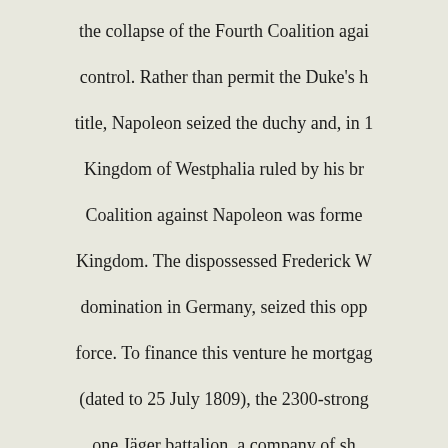the collapse of the Fourth Coalition again control. Rather than permit the Duke's h title, Napoleon seized the duchy and, in 1 Kingdom of Westphalia ruled by his bro Coalition against Napoleon was forme Kingdom. The dispossessed Frederick W domination in Germany, seized this opp force. To finance this venture he mortgag (dated to 25 July 1809), the 2300-strong one Jäger battalion, a company of sh including H single infantry regiment and the hussars the end of the Napoleonic War. In 183 reverted to black in 1850. The Brunswick 1866 with the titles: Braunschwе Braunschweigisches Husaren Regim numbering sequence. Both units kept th and caps and carried the battle honours War I in 1918, when they were disban uniforms from the Napoleonic era wer Braunschweigisches Landesm The historic black of the Brunswick Corps full dress parade uniform until the ou Infanterie-Regiment Nr.92 however ac